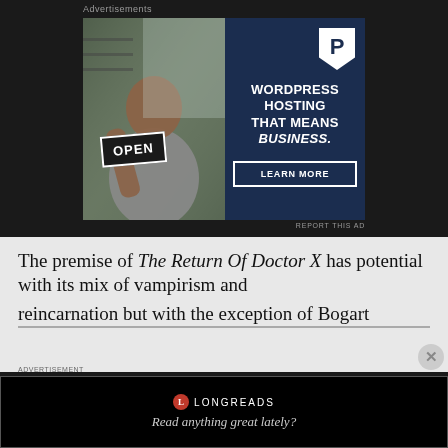Advertisements
[Figure (illustration): Advertisement banner: left half shows a photo of a woman holding an OPEN sign, right half is navy blue with a 'P' logo, text reading 'WORDPRESS HOSTING THAT MEANS BUSINESS.' and a 'LEARN MORE' button]
REPORT THIS AD
The premise of The Return Of Doctor X has potential with its mix of vampirism and reincarnation but with the exception of Bogart
LONGREADS  Read anything great lately?